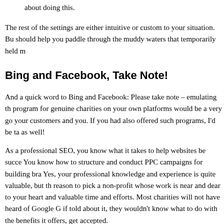about doing this.
The rest of the settings are either intuitive or custom to your situation. But should help you paddle through the muddy waters that temporarily held m
Bing and Facebook, Take Note!
And a quick word to Bing and Facebook: Please take note – emulating th program for genuine charities on your own platforms would be a very go your customers and you. If you had also offered such programs, I'd be ta as well!
As a professional SEO, you know what it takes to help websites be succe You know how to structure and conduct PPC campaigns for building bra Yes, your professional knowledge and experience is quite valuable, but th reason to pick a non-profit whose work is near and dear to your heart an valuable time and efforts. Most charities will not have heard of Google G if told about it, they wouldn't know what to do with the benefits it offers, get accepted.